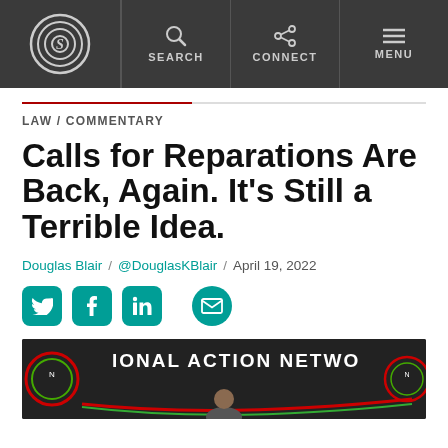Daily Signal – Navigation bar with logo, Search, Connect, Menu
LAW / COMMENTARY
Calls for Reparations Are Back, Again. It's Still a Terrible Idea.
Douglas Blair / @DouglasKBlair / April 19, 2022
[Figure (other): Social sharing icons: Twitter, Facebook, LinkedIn, Email]
[Figure (photo): Photo showing National Action Network banner/sign with partial text visible]